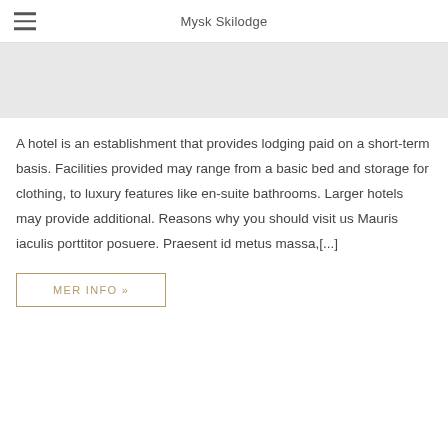Mysk Skilodge
[Figure (photo): Gray placeholder image area at top of page]
A hotel is an establishment that provides lodging paid on a short-term basis. Facilities provided may range from a basic bed and storage for clothing, to luxury features like en-suite bathrooms. Larger hotels may provide additional. Reasons why you should visit us Mauris iaculis porttitor posuere. Praesent id metus massa,[...]
MER INFO »